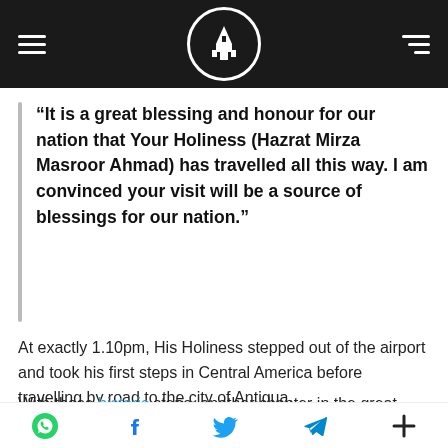Navigation bar with hamburger menu, search icon, logo, and list icon
“It is a great blessing and honour for our nation that Your Holiness (Hazrat Mirza Masroor Ahmad) has travelled all this way. I am convinced your visit will be a source of blessings for our nation.”
At exactly 1.10pm, His Holiness stepped out of the airport and took his first steps in Central America before travelling by road to the city of Antigua.
With those historic steps, another chapter in the great history of the Ahmadiyya Muslim
Social share icons: WhatsApp, Facebook, Twitter, Telegram, More